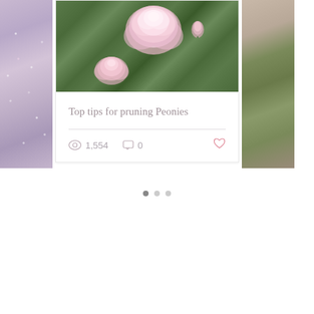[Figure (photo): Left partial card showing a glittery/sparkly fabric or surface in pink-purple tones]
[Figure (photo): Center card photo showing pink peony flowers with large bloom in center, smaller bloom at lower left, and bud at right, against dark green foliage background]
Top tips for pruning Peonies
1,554 views  0 comments  0 likes
[Figure (photo): Right partial card showing greenery/foliage in muted tones]
[Figure (infographic): Carousel pagination dots: one filled dark dot (active) and two lighter dots]